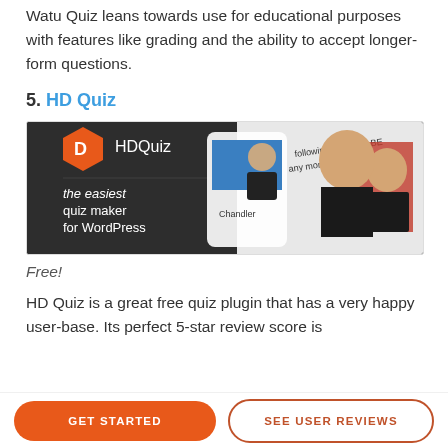Watu Quiz leans towards use for educational purposes with features like grading and the ability to accept longer-form questions.
5. HD Quiz
[Figure (screenshot): HDQuiz plugin banner showing the HD Quiz logo (orange hexagon with D), tagline 'the easiest quiz maker for WordPress', and a Friends TV show themed quiz interface with Chandler character card and text 'following? Could I BE any more clothes?']
Free!
HD Quiz is a great free quiz plugin that has a very happy user-base. Its perfect 5-star review score is
GET STARTED    SEE USER REVIEWS